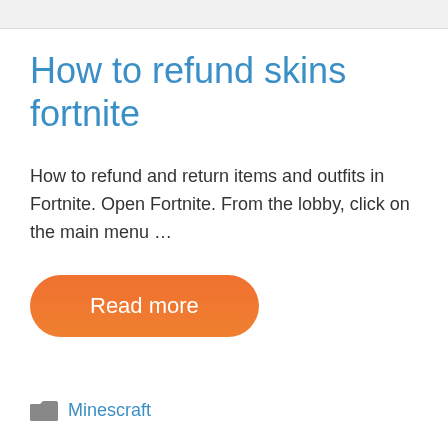How to refund skins fortnite
How to refund and return items and outfits in Fortnite. Open Fortnite. From the lobby, click on the main menu …
Read more
Minescraft